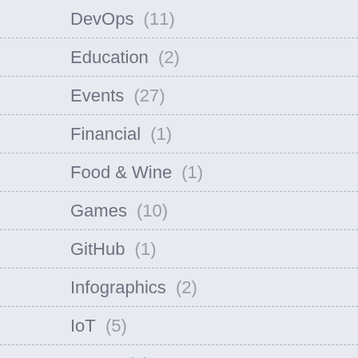DevOps (11)
Education (2)
Events (27)
Financial (1)
Food & Wine (1)
Games (10)
GitHub (1)
Infographics (2)
IoT (5)
KEDA (1)